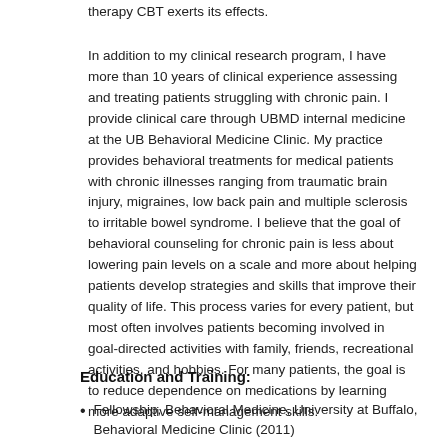therapy CBT exerts its effects.
In addition to my clinical research program, I have more than 10 years of clinical experience assessing and treating patients struggling with chronic pain. I provide clinical care through UBMD internal medicine at the UB Behavioral Medicine Clinic. My practice provides behavioral treatments for medical patients with chronic illnesses ranging from traumatic brain injury, migraines, low back pain and multiple sclerosis to irritable bowel syndrome. I believe that the goal of behavioral counseling for chronic pain is less about lowering pain levels on a scale and more about helping patients develop strategies and skills that improve their quality of life. This process varies for every patient, but most often involves patients becoming involved in goal-directed activities with family, friends, recreational activities, and hobbies. For many patients, the goal is to reduce dependence on medications by learning more adaptive self-management skills.
Education and Training:
Fellowship, Behavioral Medicine, University at Buffalo, Behavioral Medicine Clinic (2011)